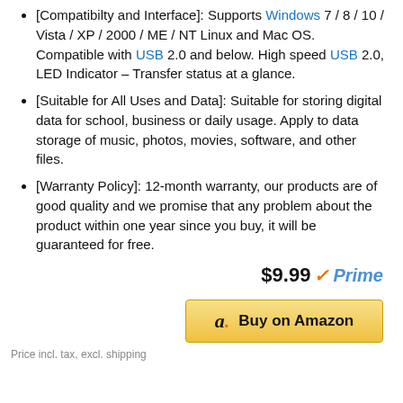[Compatibilty and Interface]: Supports Windows 7 / 8 / 10 / Vista / XP / 2000 / ME / NT Linux and Mac OS. Compatible with USB 2.0 and below. High speed USB 2.0, LED Indicator – Transfer status at a glance.
[Suitable for All Uses and Data]: Suitable for storing digital data for school, business or daily usage. Apply to data storage of music, photos, movies, software, and other files.
[Warranty Policy]: 12-month warranty, our products are of good quality and we promise that any problem about the product within one year since you buy, it will be guaranteed for free.
$9.99 Prime
Buy on Amazon
Price incl. tax, excl. shipping